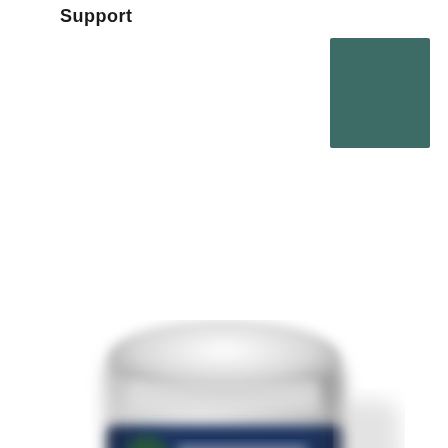Support
[Figure (illustration): A dark teal/green solid colored square in the upper right corner of the page]
[Figure (photo): A blurred product supplement bottle with a white cap and a dark navy blue label featuring a green leaf logo and white text. The bottle appears to be a health supplement container, photographed close-up and slightly out of focus.]